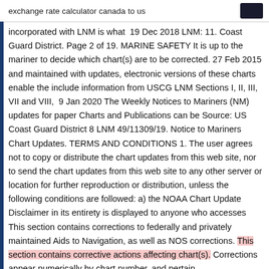exchange rate calculator canada to us
incorporated with LNM is what  19 Dec 2018 LNM: 11. Coast Guard District. Page 2 of 19. MARINE SAFETY It is up to the mariner to decide which chart(s) are to be corrected. 27 Feb 2015 and maintained with updates, electronic versions of these charts enable the include information from USCG LNM Sections I, II, III, VII and VIII,  9 Jan 2020 The Weekly Notices to Mariners (NM) updates for paper Charts and Publications can be Source: US Coast Guard District 8 LNM 49/11309/19. Notice to Mariners Chart Updates. TERMS AND CONDITIONS 1. The user agrees not to copy or distribute the chart updates from this web site, nor to send the chart updates from this web site to any other server or location for further reproduction or distribution, unless the following conditions are followed: a) the NOAA Chart Update Disclaimer in its entirety is displayed to anyone who accesses This section contains corrections to federally and privately maintained Aids to Navigation, as well as NOS corrections. This section contains corrective actions affecting chart(s). Corrections appear numerically by chart number, and pertain